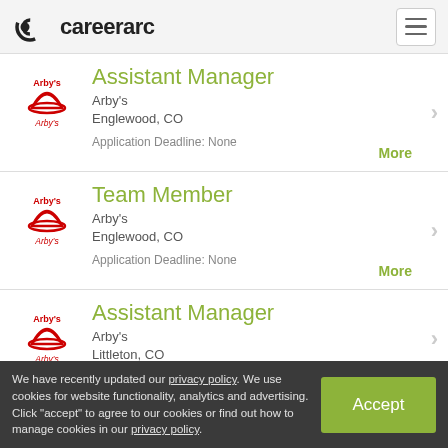careerarc
Assistant Manager — Arby's, Englewood, CO — Application Deadline: None
Team Member — Arby's, Englewood, CO — Application Deadline: None
Assistant Manager — Arby's, Littleton, CO
We have recently updated our privacy policy. We use cookies for website functionality, analytics and advertising. Click "accept" to agree to our cookies or find out how to manage cookies in our privacy policy.